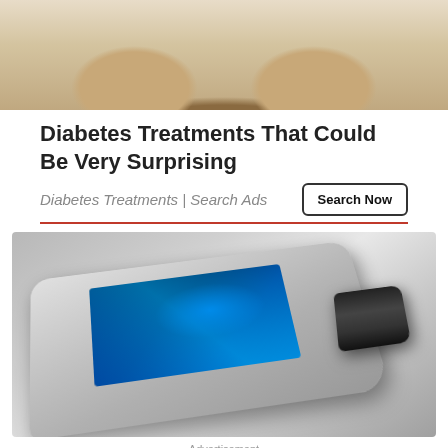[Figure (photo): Close-up photo of food items, possibly donuts or pastries with cream/glaze coating]
Diabetes Treatments That Could Be Very Surprising
Diabetes Treatments | Search Ads
[Figure (photo): Photo of a USB flash drive with a digital screen display showing company folder contents, with a detached black cap]
Advertisement
Don't Buy Home Security Until You Read This SimpliSafe